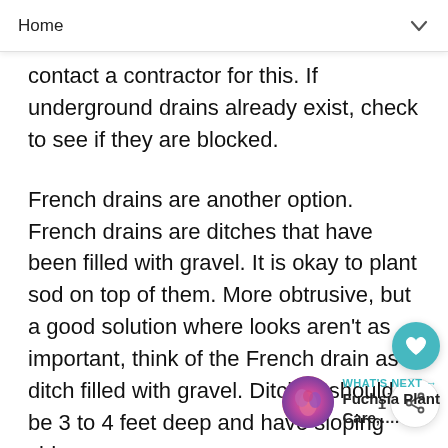Home
contact a contractor for this. If underground drains already exist, check to see if they are blocked.
French drains are another option. French drains are ditches that have been filled with gravel. It is okay to plant sod on top of them. More obtrusive, but a good solution where looks aren't as important, think of the French drain as a ditch filled with gravel. Ditches should be 3 to 4 feet deep and have sloping sides.